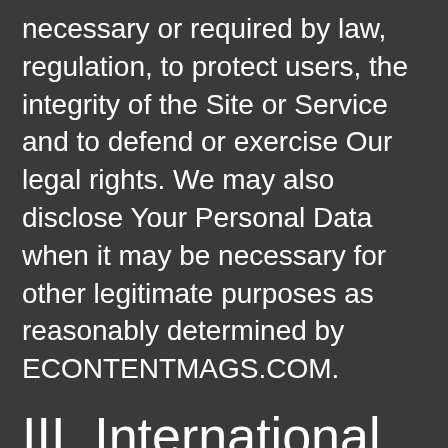necessary or required by law, regulation, to protect users, the integrity of the Site or Service and to defend or exercise Our legal rights. We may also disclose Your Personal Data when it may be necessary for other legitimate purposes as reasonably determined by ECONTENTMAGS.COM.
III. International Transfers of Information
Information, including information